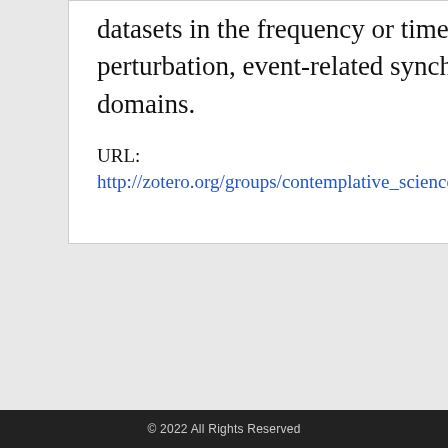datasets in the frequency or time-frequency (event-related spectral perturbation, event-related synchronization/desynchronization) domains.
URL:
http://zotero.org/groups/contemplative_sciences/items/
© 2022 All Rights Reserved